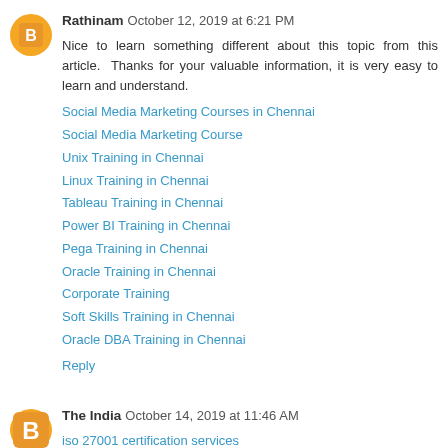Rathinam  October 12, 2019 at 6:21 PM
Nice to learn something different about this topic from this article.  Thanks for your valuable information, it is very easy to learn and understand.
Social Media Marketing Courses in Chennai
Social Media Marketing Course
Unix Training in Chennai
Linux Training in Chennai
Tableau Training in Chennai
Power BI Training in Chennai
Pega Training in Chennai
Oracle Training in Chennai
Corporate Training
Soft Skills Training in Chennai
Oracle DBA Training in Chennai
Reply
The India  October 14, 2019 at 11:46 AM
iso 27001 certification services
iso 27001 certification in delhi